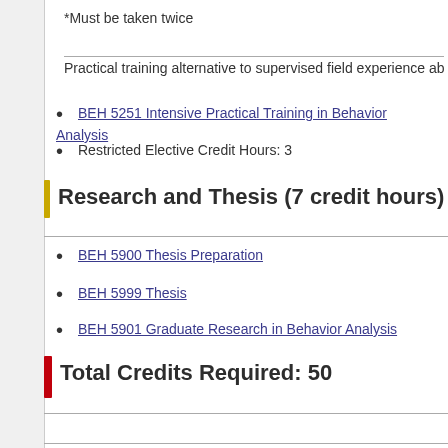*Must be taken twice
Practical training alternative to supervised field experience abov
BEH 5251 Intensive Practical Training in Behavior Analysis
Restricted Elective Credit Hours: 3
Research and Thesis (7 credit hours)
BEH 5900 Thesis Preparation
BEH 5999 Thesis
BEH 5901 Graduate Research in Behavior Analysis
Total Credits Required: 50